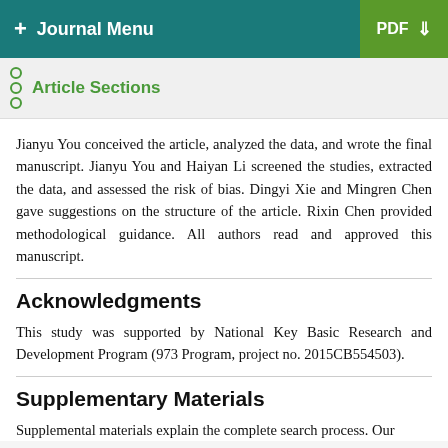+ Journal Menu  PDF ↓
Article Sections
Jianyu You conceived the article, analyzed the data, and wrote the final manuscript. Jianyu You and Haiyan Li screened the studies, extracted the data, and assessed the risk of bias. Dingyi Xie and Mingren Chen gave suggestions on the structure of the article. Rixin Chen provided methodological guidance. All authors read and approved this manuscript.
Acknowledgments
This study was supported by National Key Basic Research and Development Program (973 Program, project no. 2015CB554503).
Supplementary Materials
Supplemental materials explain the complete search process. Our